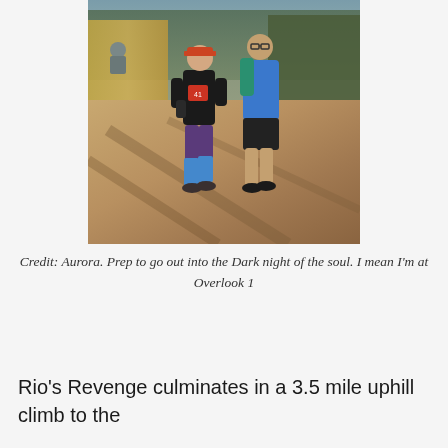[Figure (photo): Two trail runners on a dirt path. A woman in a black top, red race bib number 41, blue knee-high socks, and purple leggings runs in front. A man in a blue long-sleeve shirt and dark shorts with a hydration pack follows behind. Trees and dry grassland visible in the background.]
Credit: Aurora. Prep to go out into the Dark night of the soul. I mean I'm at Overlook 1
Rio's Revenge culminates in a 3.5 mile uphill climb to the